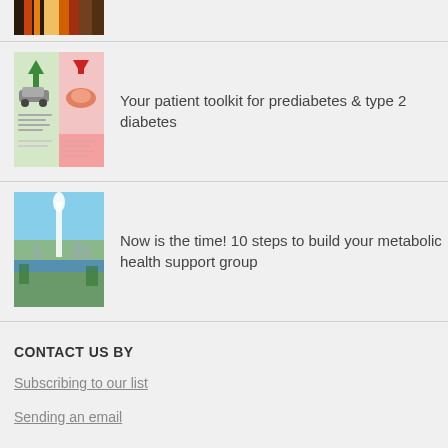[Figure (photo): Partial image of colorful textile/fabric at top of page, cropped]
[Figure (infographic): Patient toolkit infographic for prediabetes and type 2 diabetes showing food and health icons]
Your patient toolkit for prediabetes & type 2 diabetes
[Figure (photo): Outdoor photo showing a water fountain/geyser with a lake and city in background]
Now is the time! 10 steps to build your metabolic health support group
CONTACT US BY
Subscribing to our list
Sending an email